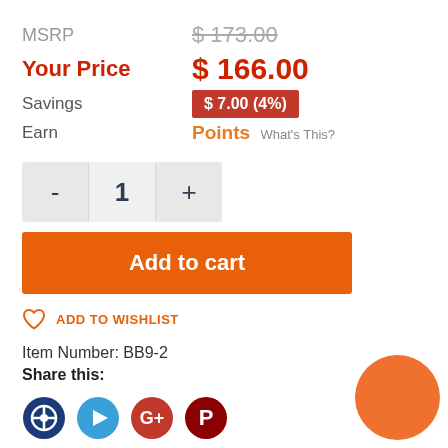MSRP   $ 173.00
Your Price   $ 166.00
Savings   $ 7.00 (4%)
Earn   Points  What's This?
- 1 +
Add to cart
ADD TO WISHLIST
Item Number: BB9-2
Share this:
[Figure (illustration): Four social media icon buttons: dark blue circle icon, light blue play button icon, red Google+ icon, red Pinterest icon. An orange circle in the bottom right corner of the page.]